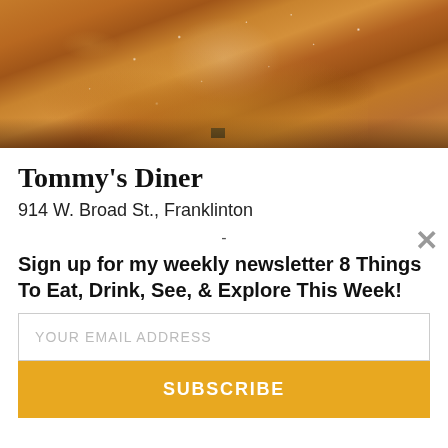[Figure (photo): Close-up photo of a fried pastry dusted with powdered sugar, likely a funnel cake or fried pie, on a white plate with a dark background at the bottom.]
Tommy's Diner
914 W. Broad St., Franklinton
-
Sign up for my weekly newsletter 8 Things To Eat, Drink, See, & Explore This Week!
YOUR EMAIL ADDRESS
SUBSCRIBE